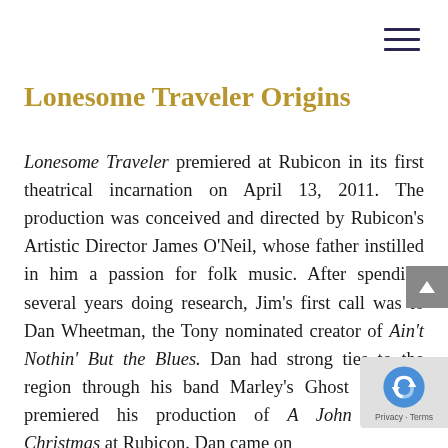Lonesome Traveler Origins
Lonesome Traveler premiered at Rubicon in its first theatrical incarnation on April 13, 2011. The production was conceived and directed by Rubicon's Artistic Director James O'Neil, whose father instilled in him a passion for folk music. After spending several years doing research, Jim's first call was to Dan Wheetman, the Tony nominated creator of Ain't Nothin' But the Blues. Dan had strong ties to the region through his band Marley's Ghost and had premiered his production of A John Denver Christmas at Rubicon. Dan came on